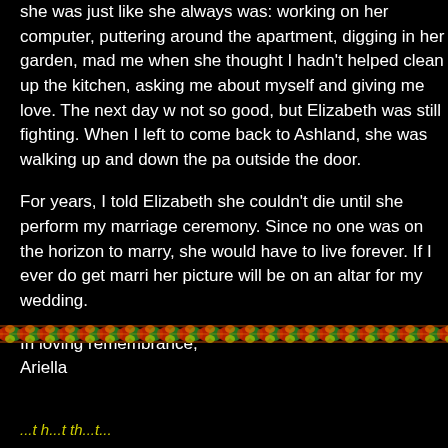she was just like she always was: working on her computer, puttering around the apartment, digging in her garden, mad at me when she thought I hadn't helped clean up the kitchen, asking me about myself and giving me love. The next day was not so good, but Elizabeth was still fighting. When I left to come back to Ashland, she was walking up and down the pa... outside the door.

For years, I told Elizabeth she couldn't die until she perform... my marriage ceremony. Since no one was on the horizon to marry, she would have to live forever. If I ever do get marri... her picture will be on an altar for my wedding.

In loving remembrance,
Ariella
[Figure (illustration): A decorative horizontal divider band with colorful pixel/woven pattern in red, green, orange, and yellow colors]
...t h...t th...t...